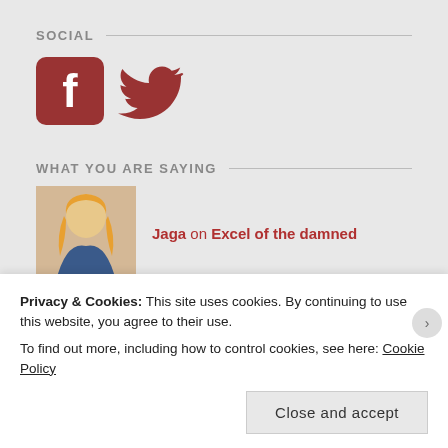SOCIAL
[Figure (illustration): Facebook and Twitter social media icons in dark red/maroon color]
WHAT YOU ARE SAYING
Jaga on Excel of the damned
acflory on Excel of the damned
acflory on Someone killed the world
Privacy & Cookies: This site uses cookies. By continuing to use this website, you agree to their use.
To find out more, including how to control cookies, see here: Cookie Policy
Close and accept